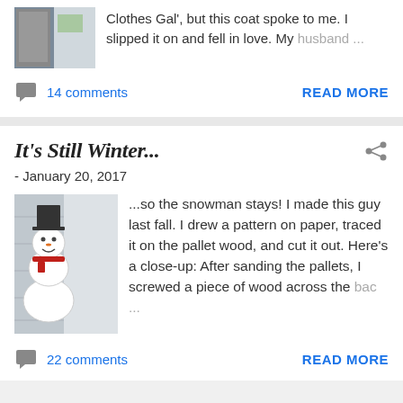Clothes Gal', but this coat spoke to me.  I slipped it on and fell in love. My husband ...
14 comments
READ MORE
It's Still Winter...
- January 20, 2017
...so the snowman stays! I made this guy last fall.  I drew a pattern on paper, traced it on the pallet wood, and cut it out. Here's a close-up: After sanding the pallets, I screwed a piece of wood across the bac ...
22 comments
READ MORE